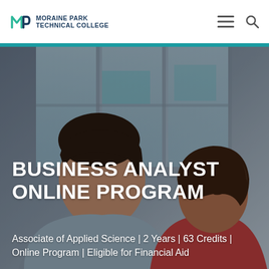Moraine Park Technical College
[Figure (photo): Two people, a man and a woman, sitting together looking forward with an urban skyline with large windows in the background. The photo serves as the hero image for the Business Analyst Online Program page.]
BUSINESS ANALYST ONLINE PROGRAM
Associate of Applied Science | 2 Years | 63 Credits | Online Program | Eligible for Financial Aid